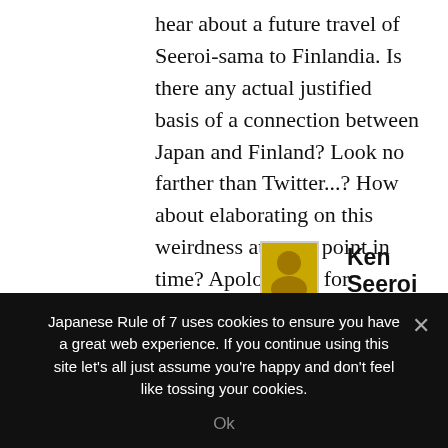hear about a future travel of Seeroi-sama to Finlandia. Is there any actual justified basis of a connection between Japan and Finland? Look no farther than Twitter...? How about elaborating on this weirdness at some point in time? Apologizing for obscurity in advance in this post generated under alcoholic circumstances.
Cheers
↩ Reply
Ken Seeroi
Japanese Rule of 7 uses cookies to ensure you have a great web experience. If you continue using this site let's all just assume you're happy and don't feel like tossing your cookies.
Ok